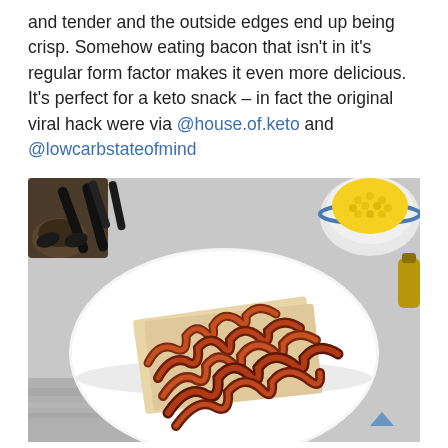and tender and the outside edges end up being crisp. Somehow eating bacon that isn't in it's regular form factor makes it even more delicious. It's perfect for a keto snack – in fact the original viral hack were via @house.of.keto and @lowcarbstateofmind
[Figure (photo): Twisted/curled strips of cooked bacon piled on a white round plate lined with parchment paper. Black tongs visible in upper left background, a bowl of yellow food (corn or scrambled eggs) in upper right, small brown bowl in far left, all on a light gray surface.]